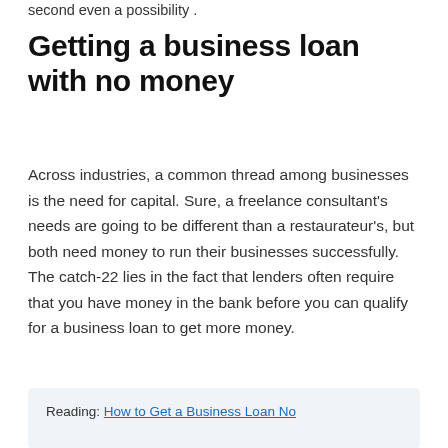second even a possibility .
Getting a business loan with no money
Across industries, a common thread among businesses is the need for capital. Sure, a freelance consultant's needs are going to be different than a restaurateur's, but both need money to run their businesses successfully. The catch-22 lies in the fact that lenders often require that you have money in the bank before you can qualify for a business loan to get more money.
Reading: How to Get a Business Loan No